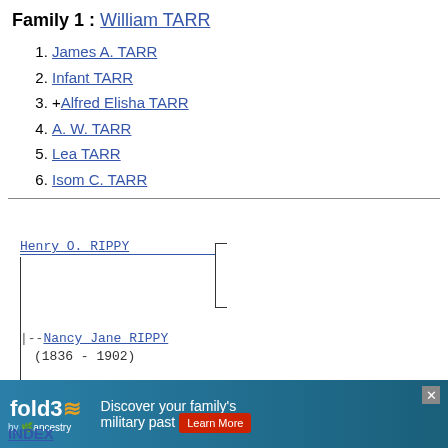Family 1 : William TARR
1. James A. TARR
2. Infant TARR
3. +Alfred Elisha TARR
4. A. W. TARR
5. Lea TARR
6. Isom C. TARR
[Figure (other): Genealogy pedigree chart showing Henry O. RIPPY with bracket lines, Nancy Jane RIPPY (1836-1902) with dashes and vertical lines, Mary H. HICKS (1808-1873) with bracket lines]
[Figure (other): Advertisement banner: fold3 by Ancestry - Discover your family's military past]